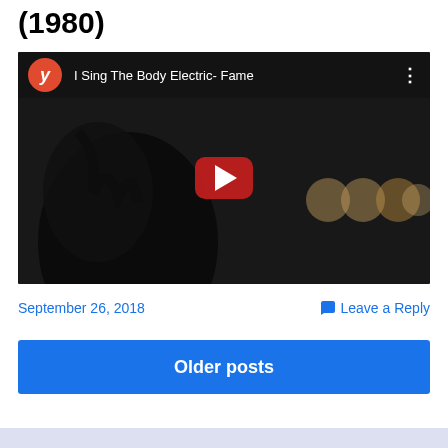(1980)
[Figure (screenshot): YouTube video embed showing 'I Sing The Body Electric- Fame' with a dark background showing a person's face and a YouTube play button in the center]
September 26, 2018
Leave a Reply
Older posts